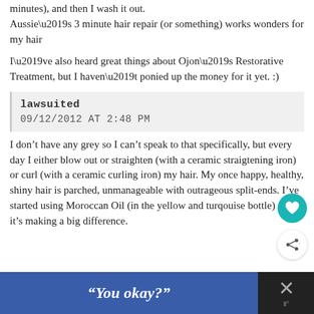minutes), and then I wash it out.
Aussie’s 3 minute hair repair (or something) works wonders for my hair
I’ve also heard great things about Ojon’s Restorative Treatment, but I haven’t ponied up the money for it yet. :)
lawsuited
09/12/2012 AT 2:48 PM
I don’t have any grey so I can’t speak to that specifically, but every day I either blow out or straighten (with a ceramic straigtening iron) or curl (with a ceramic curling iron) my hair. My once happy, healthy, shiny hair is parched, unmanageable with outrageous split-ends. I’ve started using Moroccan Oil (in the yellow and turqouise bottle) and it’s making a big difference.
“You okay?”